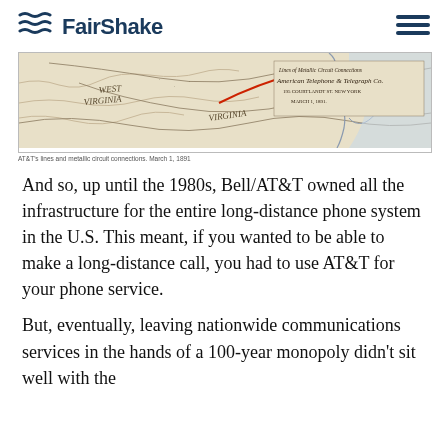FairShake
[Figure (map): AT&T's lines and metallic circuit connections map showing West Virginia and Virginia regions, March 1, 1891. Text on map reads: Lines of Metallic Circuit Connections, American Telephone & Telegraph Co., 195 Courtlandt St. New York, March 1, 1891.]
AT&T's lines and metallic circuit connections. March 1, 1891
And so, up until the 1980s, Bell/AT&T owned all the infrastructure for the entire long-distance phone system in the U.S. This meant, if you wanted to be able to make a long-distance call, you had to use AT&T for your phone service.
But, eventually, leaving nationwide communications services in the hands of a 100-year monopoly didn't sit well with the